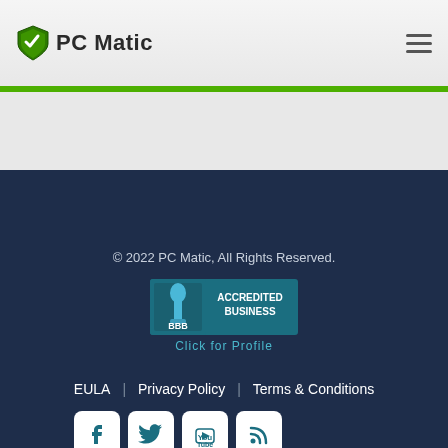PC Matic
[Figure (logo): PC Matic logo with green shield icon and bold text 'PC Matic']
© 2022 PC Matic, All Rights Reserved. | EULA | Privacy Policy | Terms & Conditions
[Figure (logo): BBB Accredited Business badge with 'Click for Profile' link below]
[Figure (infographic): Social media icons: Facebook, Twitter, YouTube, RSS feed - white icons on rounded square backgrounds]